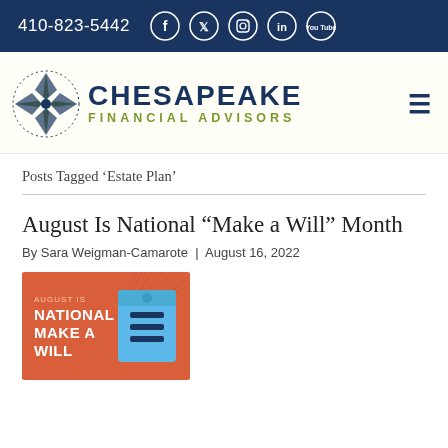410-823-5442
[Figure (logo): Chesapeake Financial Advisors logo with compass rose and text]
Posts Tagged 'Estate Plan'
August Is National “Make a Will” Month
By Sara Weigman-Camarote | August 16, 2022
[Figure (illustration): Orange promotional graphic reading AUGUST IS NATIONAL MAKE A WILL with a document icon on blue background]